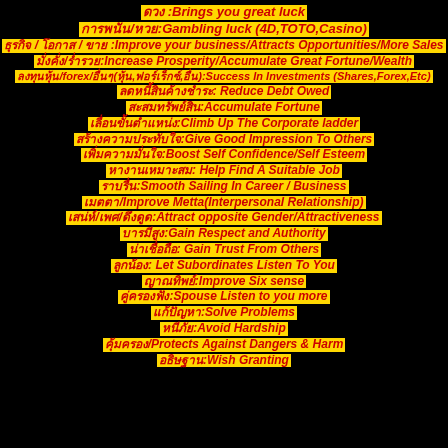ดวง :Brings you great luck
การพนัน/หวย:Gambling luck (4D,TOTO,Casino)
ธุรกิจ / โอกาส / ขาย :Improve your business/Attracts Opportunities/More Sales
มั่งคั่ง/ร่ำรวย:Increase Prosperity/Accumulate Great Fortune/Wealth
ลงทุนหุ้น/forex/อื่นๆ(หุ้น,ฟอร์เร็กซ์,อื่น):Success In Investments (Shares,Forex,Etc)
ลดหนี้สินค้างชำระ: Reduce Debt Owed
สะสมทรัพย์สิน:Accumulate Fortune
เลื่อนขั้นตำแหน่ง:Climb Up The Corporate ladder
สร้างความประทับใจ:Give Good Impression To Others
เพิ่มความมั่นใจ:Boost Self Confidence/Self Esteem
หางานเหมาะสม: Help Find A Suitable Job
ราบรื่น:Smooth Sailing In Career / Business
เมตตา/Improve Metta(Interpersonal Relationship)
เสน่ห์/เพศ/ดึงดูด:Attract opposite Gender/Attractiveness
บารมีสูง:Gain Respect and Authority
น่าเชื่อถือ: Gain Trust From Others
ลูกน้อง: Let Subordinates Listen To You
ญาณทิพย์:Improve Six sense
คู่ครองฟัง:Spouse Listen to you more
แก้ปัญหา:Solve Problems
หนีภัย:Avoid Hardship
คุ้มครอง/Protects Against Dangers & Harm
อธิษฐาน:Wish Granting